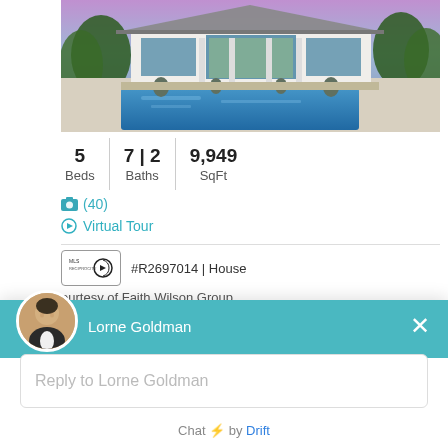[Figure (photo): Luxury house with pool at dusk, large modern home with outdoor swimming pool]
5
Beds | 7|2
Baths | 9,949
SqFt
(40)
Virtual Tour
#R2697014 | House
ourtesy of Faith Wilson Group
Lorne Goldman
Hey, is there anything I can help with today?
Reply to Lorne Goldman
Chat ⚡ by Drift